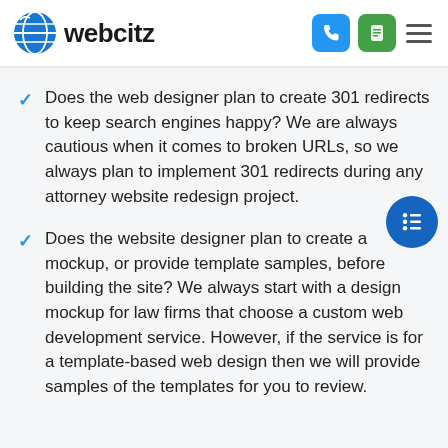webcitz
Does the web designer plan to create 301 redirects to keep search engines happy? We are always cautious when it comes to broken URLs, so we always plan to implement 301 redirects during any attorney website redesign project.
Does the website designer plan to create a mockup, or provide template samples, before building the site? We always start with a design mockup for law firms that choose a custom web development service. However, if the service is for a template-based web design then we will provide samples of the templates for you to review.